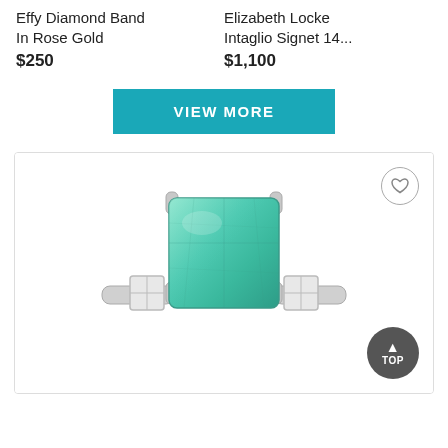Effy Diamond Band In Rose Gold
$250
Elizabeth Locke Intaglio Signet 14...
$1,100
VIEW MORE
[Figure (photo): A silver ring with a large rectangular green emerald/turquoise center stone and two small square diamonds on either side of the band, shown close-up on a white background. A circular heart/favorite button is visible in the upper right, and a dark circular 'TOP' back-to-top button is in the lower right.]